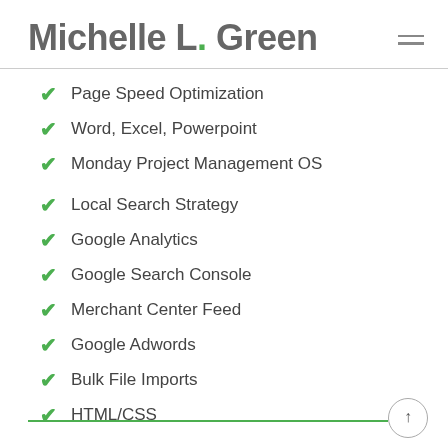Michelle L. Green
Page Speed Optimization
Word, Excel, Powerpoint
Monday Project Management OS
Local Search Strategy
Google Analytics
Google Search Console
Merchant Center Feed
Google Adwords
Bulk File Imports
HTML/CSS